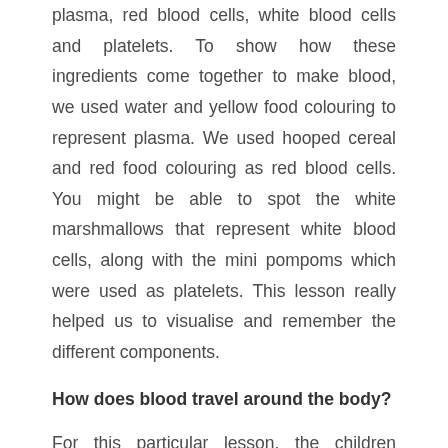plasma, red blood cells, white blood cells and platelets. To show how these ingredients come together to make blood, we used water and yellow food colouring to represent plasma. We used hooped cereal and red food colouring as red blood cells. You might be able to spot the white marshmallows that represent white blood cells, along with the mini pompoms which were used as platelets. This lesson really helped us to visualise and remember the different components.
How does blood travel around the body?
For this particular lesson, the children worked together in teams to draw large diagrams of the human circulatory system and then re-enacted how blood travels by becoming blood themselves! They